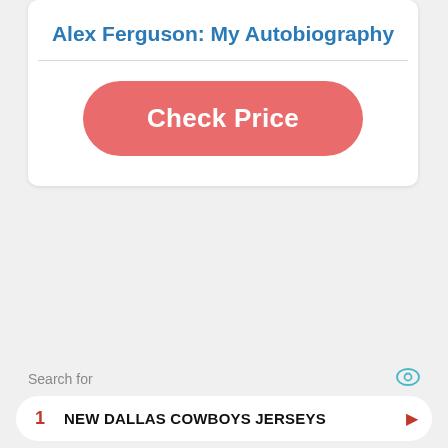Alex Ferguson: My Autobiography
[Figure (other): Check Price button - a red/salmon rounded pill button with white bold text]
Search for
1  NEW DALLAS COWBOYS JERSEYS
2  TOP 25 NCAAF RANKINGS
Ad | Business Focus